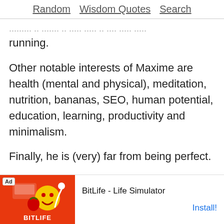Random  Wisdom Quotes  Search
...maxime is a father of two, he's and also loves running.
Other notable interests of Maxime are health (mental and physical), meditation, nutrition, bananas, SEO, human potential, education, learning, productivity and minimalism.
Finally, he is (very) far from being perfect.
You can find him on Twitter, Pinterest, LinkedIn, Quora, Instagram, Facebook, YouTube.
LAST UPDATE
Febru...
[Figure (screenshot): Mobile ad for BitLife - Life Simulator with Ad label, red background with cartoon character, and Install button]